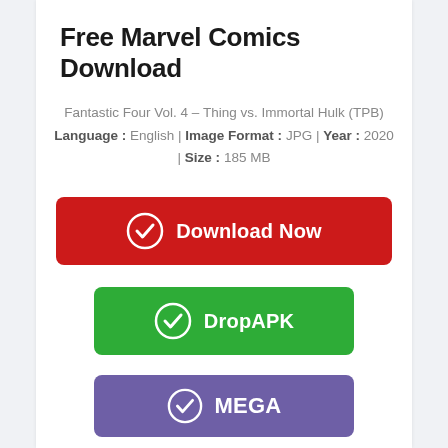Free Marvel Comics Download
Fantastic Four Vol. 4 – Thing vs. Immortal Hulk (TPB)
Language : English | Image Format : JPG | Year : 2020 | Size : 185 MB
[Figure (other): Red 'Download Now' button with circle checkmark icon]
[Figure (other): Green 'DropAPK' button with circle checkmark icon]
[Figure (other): Purple 'MEGA' button with circle checkmark icon]